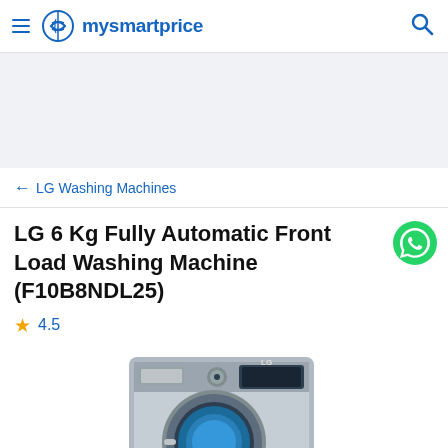mysmartprice
LG 6 Kg Fully Automatic Front Load Washing Machine (F10B8NDL25)
4.5
[Figure (photo): LG front load washing machine, silver color, model F10B8NDL25, partially visible from the top]